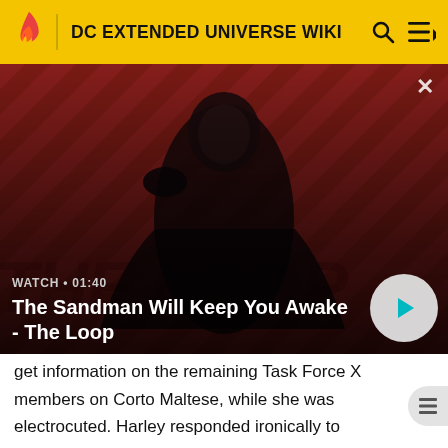DC EXTENDED UNIVERSE WIKI
[Figure (screenshot): Video thumbnail showing a dark figure (man in black cape with a raven on shoulder) against a red diagonal-striped background, with overlay text 'WATCH • 01:40' and title 'The Sandman Will Keep You Awake - The Loop' and a play button]
get information on the remaining Task Force X members on Corto Maltese, while she was electrocuted. Harley responded ironically to Suarez, making him angry and withdrawing from her place, while tasking the torturer not to lose sight of her. Meanwhile and after having captured Thicke, the second strike hooze of Task Force X dismoked